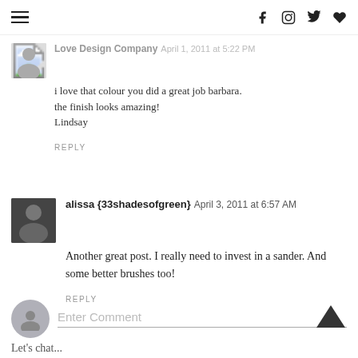Navigation menu, social icons: f, Instagram, Twitter, heart
Love Design Company April 1, 2011 at 5:22 PM
i love that colour you did a great job barbara. the finish looks amazing!
Lindsay
REPLY
alissa {33shadesofgreen} April 3, 2011 at 6:57 AM
Another great post. I really need to invest in a sander. And some better brushes too!
REPLY
Enter Comment
Let's chat...